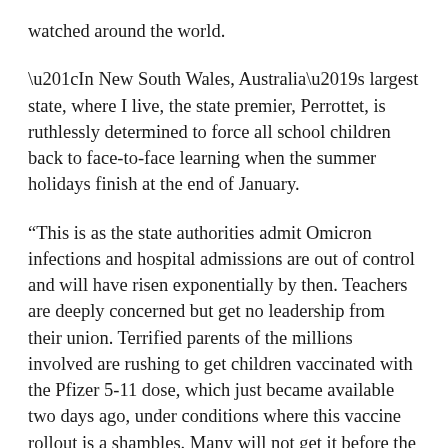watched around the world.
“In New South Wales, Australia’s largest state, where I live, the state premier, Perrottet, is ruthlessly determined to force all school children back to face-to-face learning when the summer holidays finish at the end of January.
“This is as the state authorities admit Omicron infections and hospital admissions are out of control and will have risen exponentially by then. Teachers are deeply concerned but get no leadership from their union. Terrified parents of the millions involved are rushing to get children vaccinated with the Pfizer 5-11 dose, which just became available two days ago, under conditions where this vaccine rollout is a shambles. Many will not get it before the government’s deadline. Nothing has changed in the schools to make the school buildings anything other than incubators for further spreading and mutating of the virus.